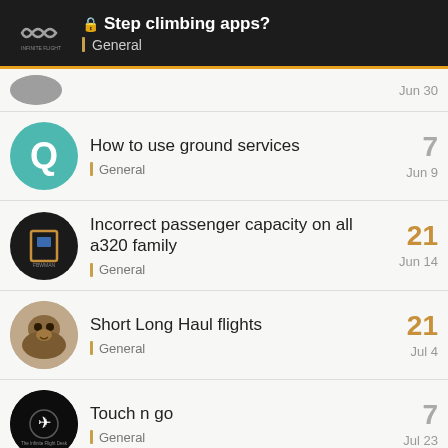Step climbing apps? — General
General — Jun 30
How to use ground services — 7 — General — Jun 9
Incorrect passenger capacity on all a320 family — 21 — General — Jun 14
Short Long Haul flights — 21 — General — Jul 4
Touch n go — 7 — General — Jul 23
Want to read more? Browse all categories or view latest topics.